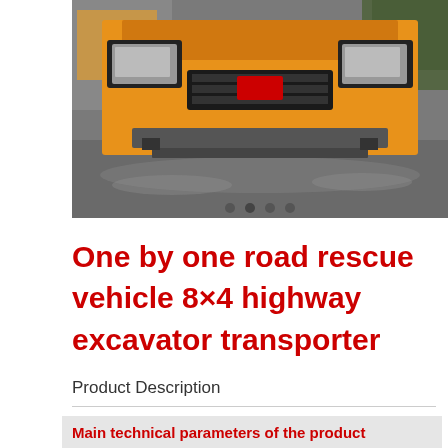[Figure (photo): Front view of an orange heavy-duty truck/road rescue vehicle photographed on a wet pavement, showing headlights, grille, and bumper. Navigation dots visible at bottom of image.]
One by one road rescue vehicle 8×4 highway excavator transporter
Product Description
Main technical parameters of the product